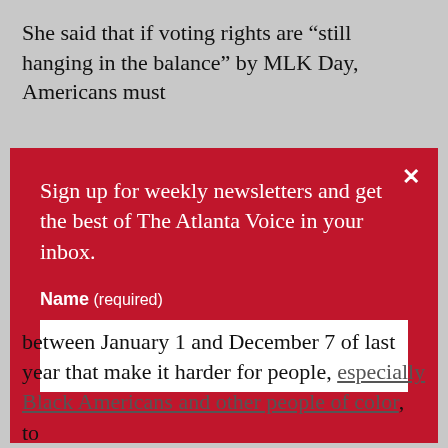She said that if voting rights are “still hanging in the balance” by MLK Day, Americans must
[Figure (screenshot): Red modal popup overlay for The Atlanta Voice newsletter signup. Contains close button (x), headline text 'Sign up for weekly newsletters and get the best of The Atlanta Voice in your inbox.', a Name (required) label, and a white input field.]
between January 1 and December 7 of last year that make it harder for people, especially Black Americans and other people of color, to